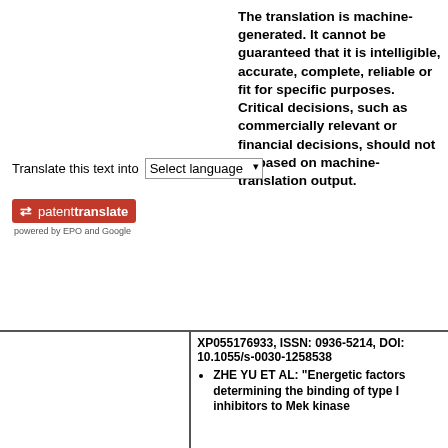The translation is machine-generated. It cannot be guaranteed that it is intelligible, accurate, complete, reliable or fit for specific purposes. Critical decisions, such as commercially relevant or financial decisions, should not be based on machine-translation output.
Translate this text into
[Figure (logo): patenttranslate logo — red box with white arrow icon and text 'patenttranslate', below reads 'powered by EPO and Google']
XP055176933, ISSN: 0936-5214, DOI: 10.1055/s-0030-1258538
ZHE YU ET AL: "Energetic factors determining the binding of type I inhibitors to Mek kinase